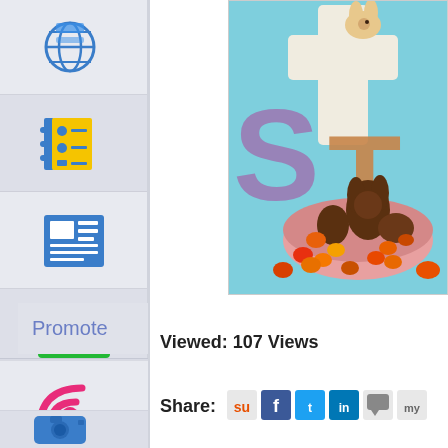[Figure (screenshot): Website CMS or publishing tool sidebar navigation with icons: globe/network icon, contacts/address book icon, news/article icon, desktop monitor icon, chat/messaging icon. Below: 'Promote' label, upload arrow icon, RSS feed icon, camera icon.]
[Figure (photo): Easter-themed photo showing chocolate bunny and eggs in a pink bowl with candy, with letter decorations spelling 'STER' (part of 'EASTER') and a cross decoration in background.]
Viewed: 107 Views
Share: